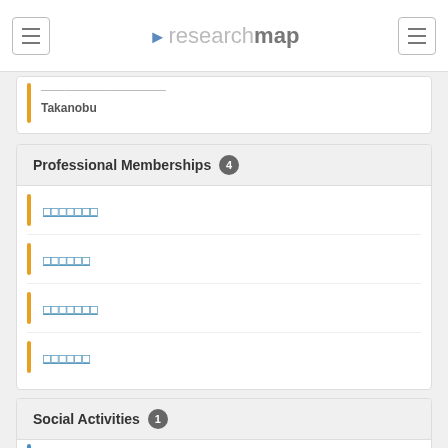researchmap
Takanobu
Professional Memberships 4
□□□□□□□
□□□□□□
□□□□□□□
□□□□□□
Social Activities 1